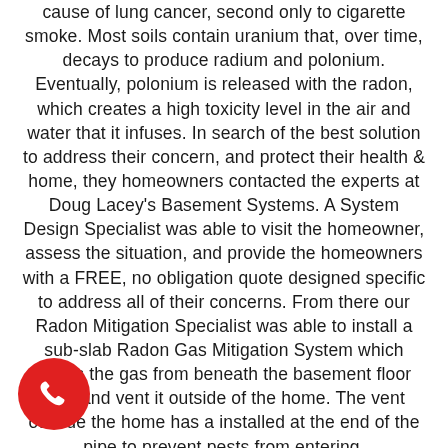cause of lung cancer, second only to cigarette smoke. Most soils contain uranium that, over time, decays to produce radium and polonium. Eventually, polonium is released with the radon, which creates a high toxicity level in the air and water that it infuses. In search of the best solution to address their concern, and protect their health & home, they homeowners contacted the experts at Doug Lacey's Basement Systems. A System Design Specialist was able to visit the homeowner, assess the situation, and provide the homeowners with a FREE, no obligation quote designed specific to address all of their concerns. From there our Radon Mitigation Specialist was able to install a sub-slab Radon Gas Mitigation System which draws the gas from beneath the basement floor slab and vent it outside of the home. The vent outside the home has a installed at the end of the pipe to prevent pests from entering.
[Figure (illustration): Red circle button with white phone/handset icon, bottom-left corner]